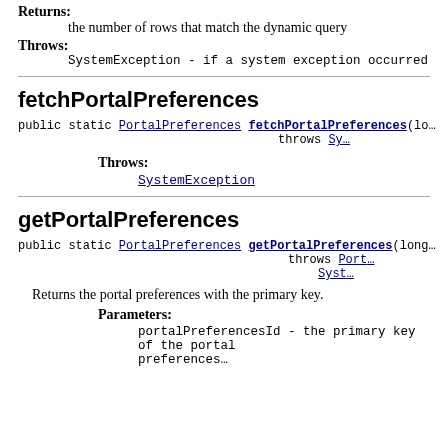Returns:
the number of rows that match the dynamic query
Throws:
SystemException - if a system exception occurred
fetchPortalPreferences
public static PortalPreferences fetchPortalPreferences(lo... throws Sy...
Throws:
SystemException
getPortalPreferences
public static PortalPreferences getPortalPreferences(long... throws Port... Syst...
Returns the portal preferences with the primary key.
Parameters:
portalPreferencesId - the primary key of the portal preferences